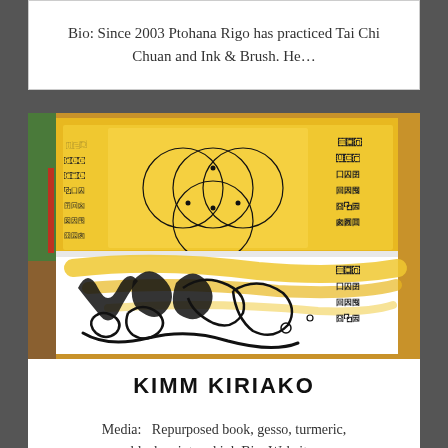Bio: Since 2003 Ptohana Rigo has practiced Tai Chi Chuan and Ink & Brush. He…
[Figure (photo): Open book/sketchbook with yellow/golden painted pages. Top page has geometric circle designs drawn in black ink over yellow paint with calligraphic text on the sides. Bottom page has white background with yellow brush strokes and flowing black calligraphic/decorative ink marks. Various art materials visible around edges.]
KIMM KIRIAKO
Media:   Repurposed book, gesso, turmeric, black paint and ink Bio: Website: